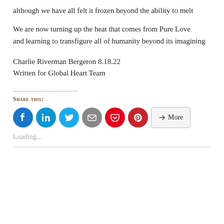although we have all felt it frozen beyond the ability to melt
We are now turning up the heat that comes from Pure Love
and learning to transfigure all of humanity beyond its imagining
Charlie Riverman Bergeron 8.18.22
Written for Global Heart Team
Share this:
[Figure (infographic): Social sharing buttons: Facebook (blue circle), LinkedIn (blue circle), Twitter (light blue circle), Email (gray circle), Pocket (red circle), Pinterest (dark red circle), More (rounded rectangle button)]
Loading...